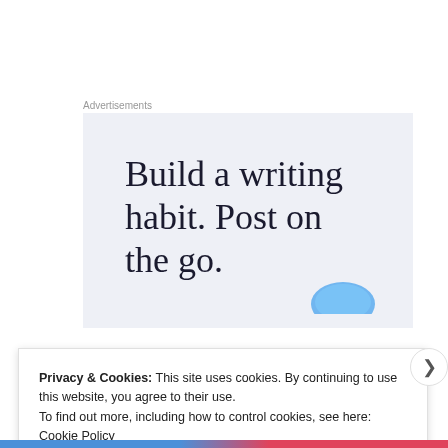Advertisements
[Figure (infographic): Advertisement banner with light blue/grey background showing the text 'Build a writing habit. Post on the go.' in large serif font, with a blue circular icon at the bottom right.]
Privacy & Cookies: This site uses cookies. By continuing to use this website, you agree to their use.
To find out more, including how to control cookies, see here: Cookie Policy
Close and accept